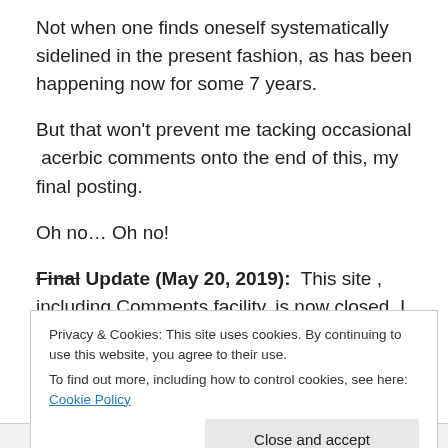Not when one finds oneself systematically sidelined in the present fashion, as has been happening now for some 7 years.
But that won't prevent me tacking occasional  acerbic comments onto the end of this, my final posting.
Oh no… Oh no!
Final Update (May 20, 2019):  This site , including Comments facility, is now closed. I placed my final comment on Dan Porter`s shroudstory site yesterday:
Privacy & Cookies: This site uses cookies. By continuing to use this website, you agree to their use.
To find out more, including how to control cookies, see here: Cookie Policy
[Close and accept]
body image is a 14th century contact-only imprint (no imaging across air gaps!).